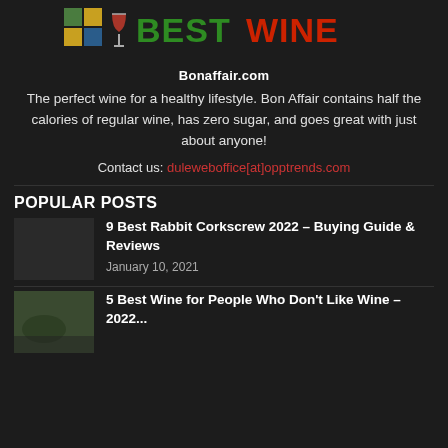[Figure (logo): BestWine logo with wine glass icon and colored squares, text BEST in green and WINE in red]
Bonaffair.com
The perfect wine for a healthy lifestyle. Bon Affair contains half the calories of regular wine, has zero sugar, and goes great with just about anyone!
Contact us: duleweboffice[at]opptrends.com
POPULAR POSTS
9 Best Rabbit Corkscrew 2022 – Buying Guide & Reviews
January 10, 2021
[Figure (photo): Thumbnail image of wine-related content]
5 Best Wine for People Who Don't Like Wine – 2022...